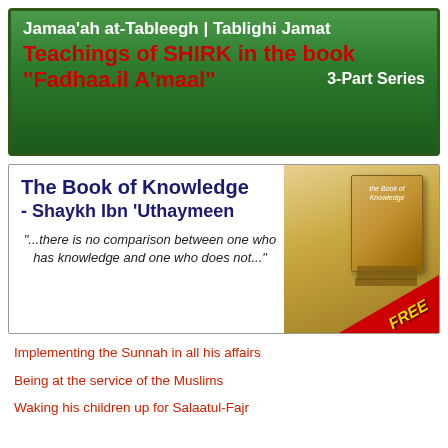[Figure (infographic): Green gradient banner with white and red bold text: 'Jamaa'ah at-Tableegh | Tablighi Jamat' in white, 'Teachings of SHIRK in the book "Fadhaa.il A'maal"' in red, '3-Part Series' in white]
[Figure (infographic): White bordered box with dark blue bold text 'The Book of Knowledge - Shaykh Ibn Uthaymeen', italic quote about knowledge, book stack image on right, red FREE ribbon]
Implementing the Sunnah in all his affairs
Being at the service of the Muslims
Waking his children up for Salaatul-Fajr